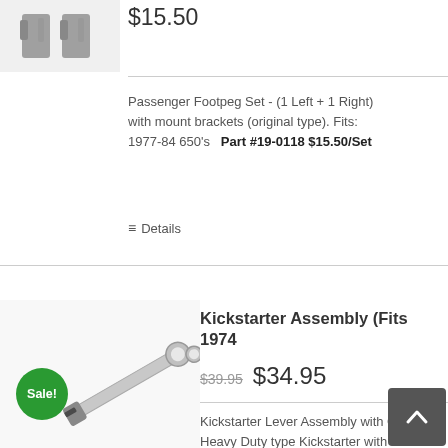[Figure (photo): Passenger footpeg set with mount brackets — two metal bracket pieces shown]
$15.50
Passenger Footpeg Set - (1 Left + 1 Right) with mount brackets (original type). Fits: 1977-84 650's   Part #19-0118 $15.50/Set
Details
[Figure (photo): Kickstarter lever assembly — chrome metal kickstarter lever with rubber tip and hardware, with green Sale! badge]
Kickstarter Assembly (Fits 1974...
$39.95  $34.95
Kickstarter Lever Assembly with Chrome... Heavy Duty type Kickstarter with rubber...